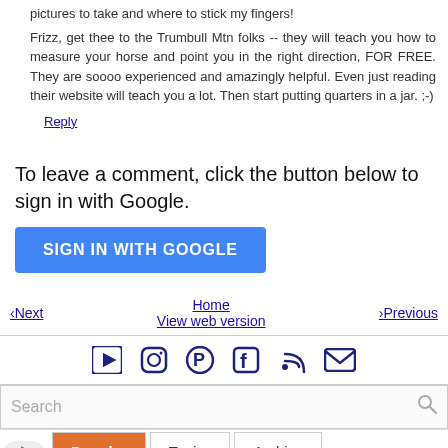pictures to take and where to stick my fingers!
Frizz, get thee to the Trumbull Mtn folks -- they will teach you how to measure your horse and point you in the right direction, FOR FREE. They are soooo experienced and amazingly helpful. Even just reading their website will teach you a lot. Then start putting quarters in a jar. ;-)
Reply
To leave a comment, click the button below to sign in with Google.
SIGN IN WITH GOOGLE
‹Next
Home
View web version
›Previous
[Figure (infographic): Social media icons row: YouTube, Instagram, Pinterest, Facebook, RSS, Email]
Search
Popular  Topics  Archive